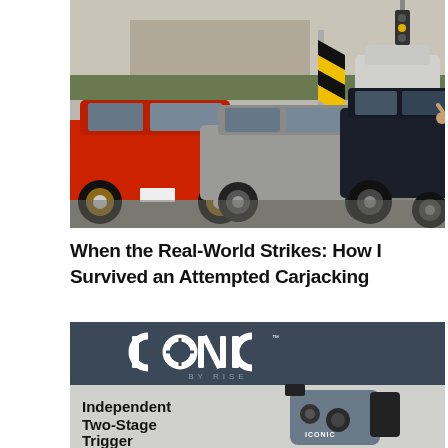[Figure (photo): Parking lot scene with multiple cars including a red car, silver sedan, and dark SUV, with yellow chevron road sign and building in background]
When the Real-World Strikes: How I Survived an Attempted Carjacking
[Figure (illustration): ICONIC by RISE advertisement showing Independent Two-Stage Trigger product with logo on dark blue background and product image on grey background]